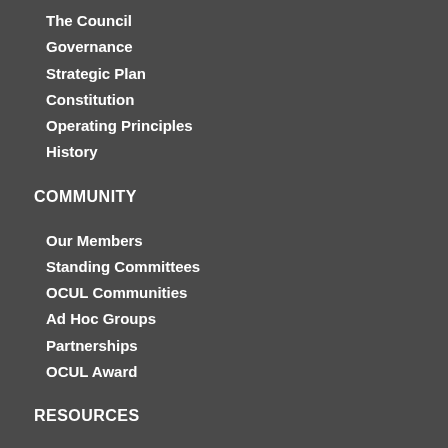The Council
Governance
Strategic Plan
Constitution
Operating Principles
History
COMMUNITY
Our Members
Standing Committees
OCUL Communities
Ad Hoc Groups
Partnerships
OCUL Award
RESOURCES
Accessibility
Publications
Statistics
Archival Collection